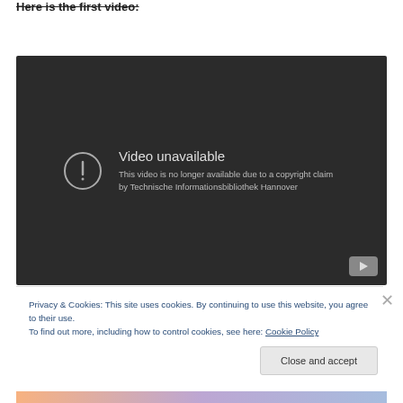Here is the first video:
[Figure (screenshot): Embedded YouTube video player showing 'Video unavailable' error message. The video is no longer available due to a copyright claim by Technische Informationsbibliothek Hannover. Dark background with exclamation icon and play button in bottom-right corner.]
Privacy & Cookies: This site uses cookies. By continuing to use this website, you agree to their use.
To find out more, including how to control cookies, see here: Cookie Policy
Close and accept